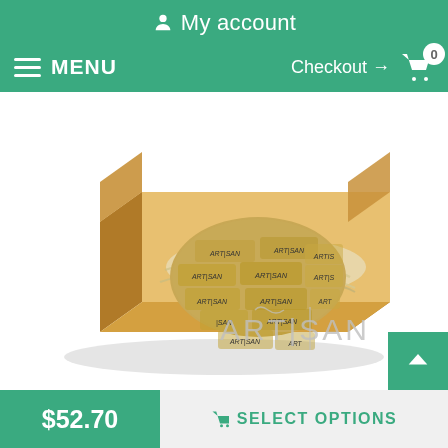My account
MENU   Checkout → 0
[Figure (photo): Gift box with artisan branded dog collar wrapped in straw packaging, with ARTISAN logo watermark]
Order a present for your dog
When ordering this adorned dog collar, you will get a gift package along with it! Don't miss your chance to praise your
$52.70   SELECT OPTIONS